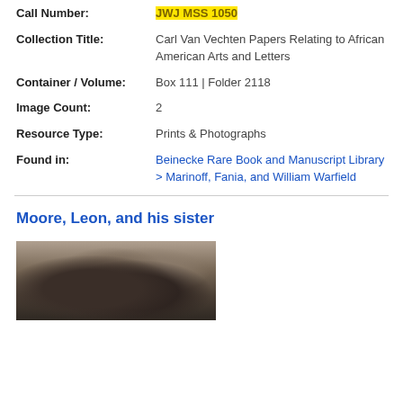Call Number: JWJ MSS 1050
Collection Title: Carl Van Vechten Papers Relating to African American Arts and Letters
Container / Volume: Box 111 | Folder 2118
Image Count: 2
Resource Type: Prints & Photographs
Found in: Beinecke Rare Book and Manuscript Library > Marinoff, Fania, and William Warfield
Moore, Leon, and his sister
[Figure (photo): A sepia-toned photograph showing two people (Moore, Leon, and his sister), partially visible, dark and aged image.]